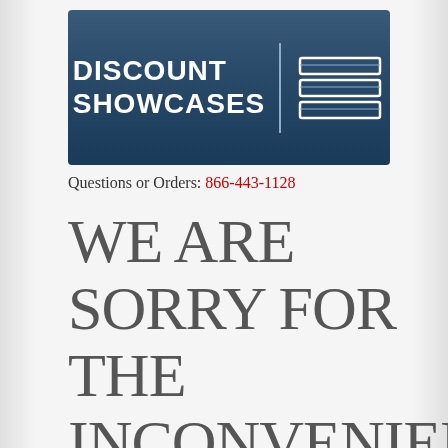[Figure (logo): Discount Showcases logo: dark blue banner with white bold text 'DISCOUNT SHOWCASES' on left, vertical divider line, and white line-art icon of a showcase/display case on right]
Questions or Orders: 866-443-1128
WE ARE SORRY FOR THE INCONVENIENCE. DUE TO SUPPLY SHORTAGE, SHOWCASES ARE CURRENTLY OUT